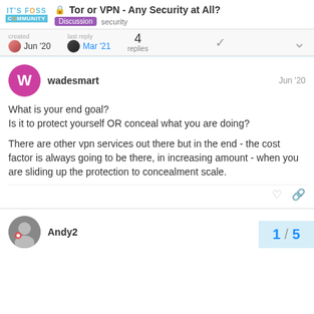IT'S FOSS COMMUNITY — Tor or VPN - Any Security at All? — Discussion security
created Jun '20   last reply Mar '21   4 replies
wadesmart   Jun '20
What is your end goal?
Is it to protect yourself OR conceal what you are doing?

There are other vpn services out there but in the end - the cost factor is always going to be there, in increasing amount - when you are sliding up the protection to concealment scale.
Andy2   1   Jun '20
1 / 5